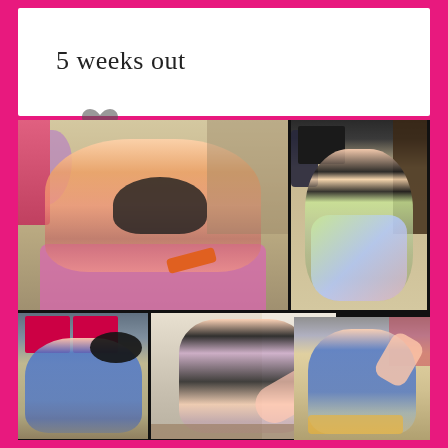5 weeks out
[Figure (photo): Collage of fitness photos showing a woman exercising in a gym setting. Top left: woman on yoga mat doing a stretch exercise in pink leggings and black top. Top right: woman viewed from behind in a gym wearing colorful leggings showing her back and glutes. Bottom left: woman in blue tank top with weights. Bottom center: woman doing a kick or squat exercise in black shorts. Bottom right: woman in blue tank top exercising. Vertical text overlay spelling BELIEVE in white on black background.]